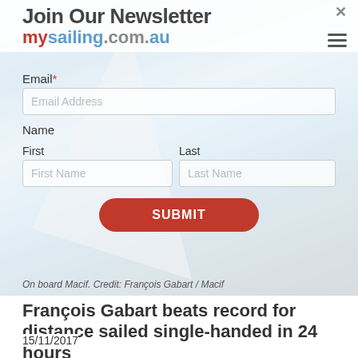[Figure (photo): Background photo of a sailing yacht on board Macif, showing the deck and sails with ocean and sky in background.]
Join Our Newsletter
mysailing.com.au
Email*
Email Address
Name
First
First Name
Last
Last Name
SUBMIT
On board Macif. Credit: François Gabart / Macif
François Gabart beats record for distance sailed single-handed in 24 hours
15/11/2017